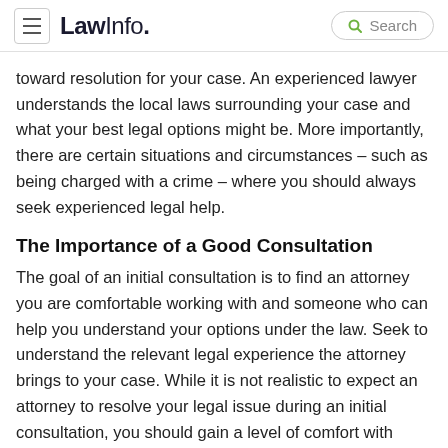LawInfo. Search
toward resolution for your case. An experienced lawyer understands the local laws surrounding your case and what your best legal options might be. More importantly, there are certain situations and circumstances – such as being charged with a crime – where you should always seek experienced legal help.
The Importance of a Good Consultation
The goal of an initial consultation is to find an attorney you are comfortable working with and someone who can help you understand your options under the law. Seek to understand the relevant legal experience the attorney brings to your case. While it is not realistic to expect an attorney to resolve your legal issue during an initial consultation, you should gain a level of comfort with his/her ability to do so. A good consultation can clarify issues, raise pertinent questions and considerations for your case, and help you make an informed decision towards resolving your legal